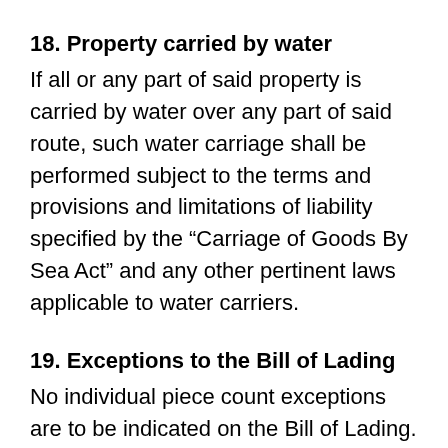18. Property carried by water
If all or any part of said property is carried by water over any part of said route, such water carriage shall be performed subject to the terms and provisions and limitations of liability specified by the “Carriage of Goods By Sea Act” and any other pertinent laws applicable to water carriers.
19. Exceptions to the Bill of Lading
No individual piece count exceptions are to be indicated on the Bill of Lading. The carrier’s representative is to physically count and sign for each box or package, not pallets or skids, for each shipment that is tendered for transportation. No exceptions to the piece count is acceptable such as “said to contain”, “shipper load and count” or other